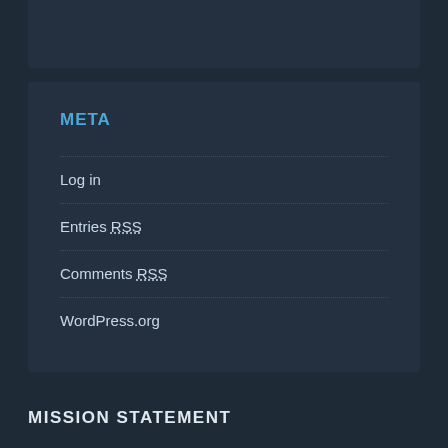META
Log in
Entries RSS
Comments RSS
WordPress.org
MISSION STATEMENT